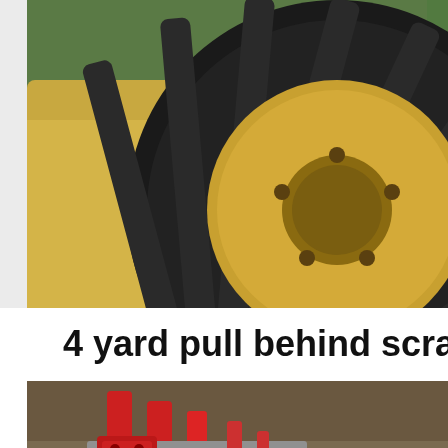[Figure (photo): Close-up photo of a large yellow tractor wheel with black tread against green grass background, partially cropped]
4 yard pull behind scrape
Contact for Pricing
Lake Country |
[Figure (photo): Farm equipment with red hydraulic mechanism and yellow wheel visible, partially cropped at bottom of page]